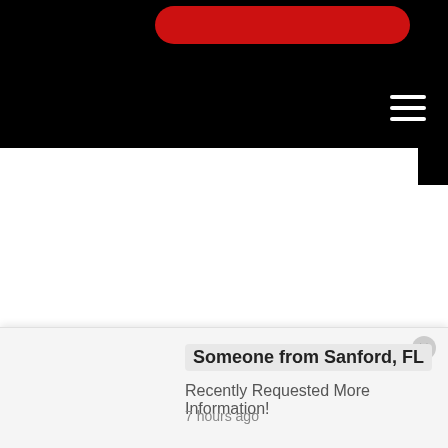[Figure (screenshot): Black navigation header bar with a red rounded button and a white hamburger menu icon on the right side]
[Figure (photo): A young man with short hair wearing a gray t-shirt with 'TEA' text visible, working out in a gym with equipment and weights visible in the background]
Someone from Sanford, FL
Recently Requested More Information!
7 hours ago